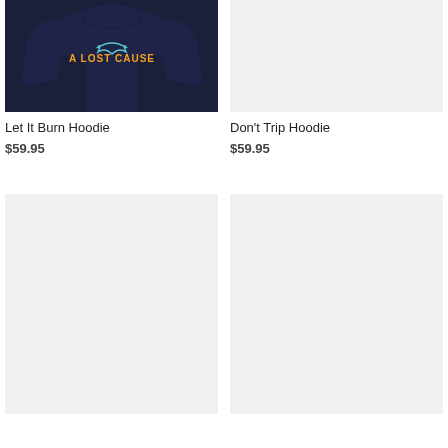[Figure (photo): Person wearing a dark navy hoodie with 'A LOST CAUSE' text and graphic on front, paired with dark pants. Top half of body visible.]
[Figure (photo): Light gray placeholder image for Don't Trip Hoodie product photo.]
Let It Burn Hoodie
$59.95
Don't Trip Hoodie
$59.95
[Figure (photo): Light gray placeholder image for second product hoodie photo (bottom left).]
[Figure (photo): Light gray placeholder image for second product hoodie photo (bottom right).]